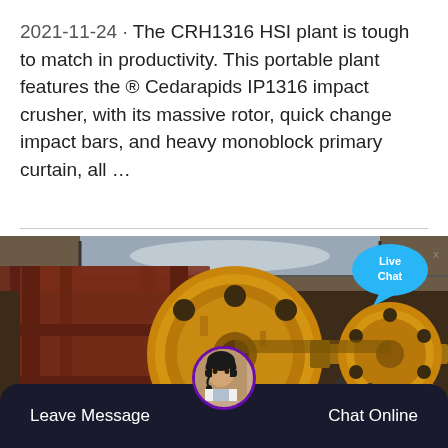2021-11-24 · The CRH1316 HSI plant is tough to match in productivity. This portable plant features the ® Cedarapids IP1316 impact crusher, with its massive rotor, quick change impact bars, and heavy monoblock primary curtain, all …
[Figure (photo): Industrial HSI impact crusher with large yellow flywheels/pulleys mounted on a heavy steel frame inside a warehouse or industrial facility. A live chat bubble overlay is visible in the top right corner.]
Leave Message
Chat Online